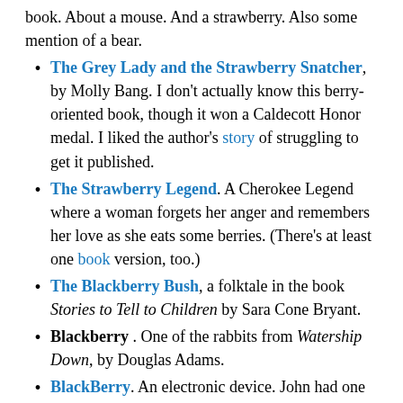book. About a mouse. And a strawberry. Also some mention of a bear.
The Grey Lady and the Strawberry Snatcher, by Molly Bang. I don’t actually know this berry-oriented book, though it won a Caldecott Honor medal. I liked the author’s story of struggling to get it published.
The Strawberry Legend. A Cherokee Legend where a woman forgets her anger and remembers her love as she eats some berries. (There’s at least one book version, too.)
The Blackberry Bush, a folktale in the book Stories to Tell to Children by Sara Cone Bryant.
Blackberry. One of the rabbits from Watership Down, by Douglas Adams.
BlackBerry. An electronic device. John had one for a couple of years. He would sometimes throw it when he got email because it would irritate him so much with its onslaught of interruptions.